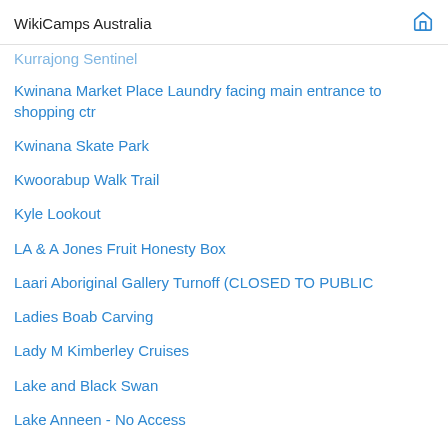WikiCamps Australia
Kurrajong Sentinel
Kwinana Market Place Laundry facing main entrance to shopping ctr
Kwinana Skate Park
Kwoorabup Walk Trail
Kyle Lookout
LA & A Jones Fruit Honesty Box
Laari Aboriginal Gallery Turnoff (CLOSED TO PUBLIC
Ladies Boab Carving
Lady M Kimberley Cruises
Lake and Black Swan
Lake Anneen - No Access